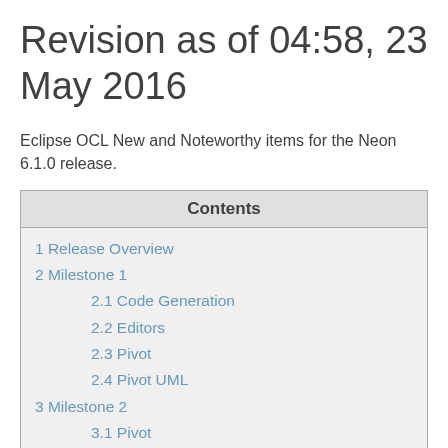Revision as of 04:58, 23 May 2016
Eclipse OCL New and Noteworthy items for the Neon 6.1.0 release.
| Contents |
| --- |
| 1 Release Overview |
| 2 Milestone 1 |
| 2.1 Code Generation |
| 2.2 Editors |
| 2.3 Pivot |
| 2.4 Pivot UML |
| 3 Milestone 2 |
| 3.1 Pivot |
| 3.2 Pivot UML |
| 4 Milestone 3 |
| 4.1 Pivot |
| 5 Milestone 4 |
| 5.1 Pivot |
| 6 Milestone 5 |